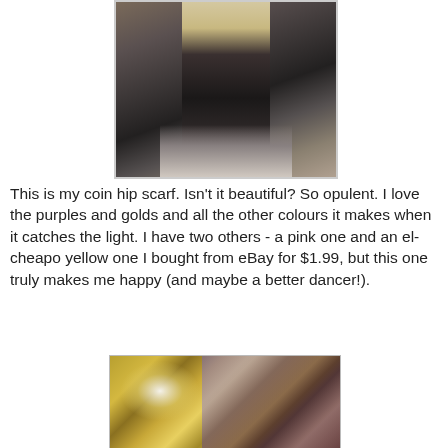[Figure (photo): Photo of person's lower body wearing black leggings/pants with a coin hip scarf, standing outdoors with a wooden fence in the background, sunlit scene]
This is my coin hip scarf. Isn't it beautiful? So opulent. I love the purples and golds and all the other colours it makes when it catches the light. I have two others - a pink one and an el-cheapo yellow one I bought from eBay for $1.99, but this one truly makes me happy (and maybe a better dancer!).
[Figure (photo): Close-up photo of a decorative coin hip scarf with gold, blue, green, and purple beads, sequins, and coins, with a bright light reflection in the center]